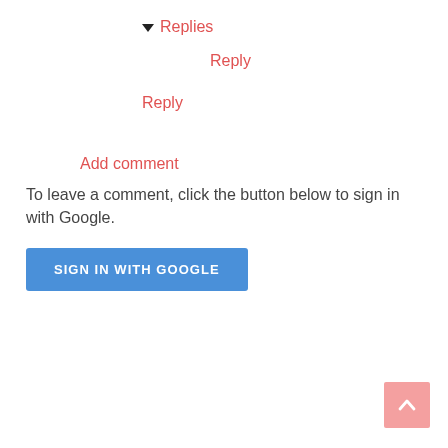▼ Replies
Reply
Reply
Add comment
To leave a comment, click the button below to sign in with Google.
SIGN IN WITH GOOGLE
[Figure (other): Back to top button arrow pointing upward, pink/salmon background]